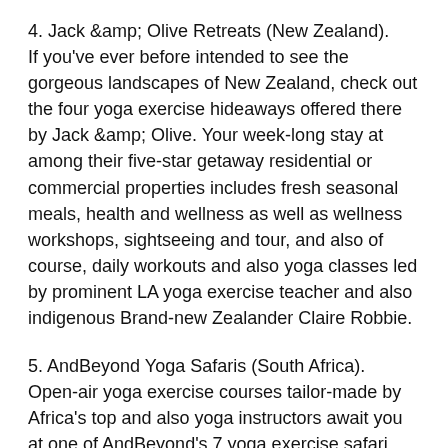4. Jack &amp; Olive Retreats (New Zealand). If you've ever before intended to see the gorgeous landscapes of New Zealand, check out the four yoga exercise hideaways offered there by Jack &amp; Olive. Your week-long stay at among their five-star getaway residential or commercial properties includes fresh seasonal meals, health and wellness as well as wellness workshops, sightseeing and tour, and also of course, daily workouts and also yoga classes led by prominent LA yoga exercise teacher and also indigenous Brand-new Zealander Claire Robbie.
5. AndBeyond Yoga Safaris (South Africa). Open-air yoga exercise courses tailor-made by Africa's top and also yoga instructors await you at one of AndBeyond's 7 yoga exercise safari lodges. Collaborate with among their yoga traveling specialists to pick your tailored experience based on your preferred yoga exercise technique. In addition to two courses per day, you'll enjoy video game drives,